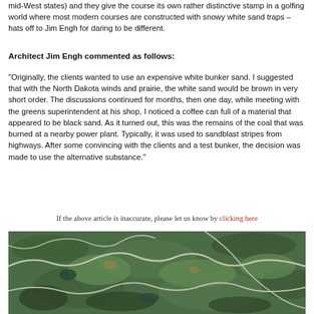mid-West states) and they give the course its own rather distinctive stamp in a golfing world where most modern courses are constructed with snowy white sand traps – hats off to Jim Engh for daring to be different.
Architect Jim Engh commented as follows:
“Originally, the clients wanted to use an expensive white bunker sand. I suggested that with the North Dakota winds and prairie, the white sand would be brown in very short order. The discussions continued for months, then one day, while meeting with the greens superintendent at his shop, I noticed a coffee can full of a material that appeared to be black sand. As it turned out, this was the remains of the coal that was burned at a nearby power plant. Typically, it was used to sandblast stripes from highways. After some convincing with the clients and a test bunker, the decision was made to use the alternative substance.”
If the above article is inaccurate, please let us know by clicking here
[Figure (photo): Aerial satellite view of a golf course with green fairways, cart paths visible as white lines, and surrounding terrain]